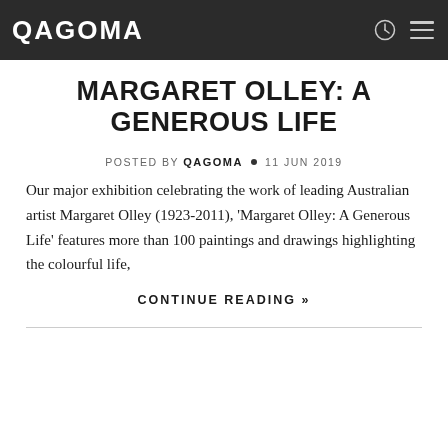QAGOMA
MARGARET OLLEY: A GENEROUS LIFE
POSTED BY QAGOMA • 11 JUN 2019
Our major exhibition celebrating the work of leading Australian artist Margaret Olley (1923-2011), 'Margaret Olley: A Generous Life' features more than 100 paintings and drawings highlighting the colourful life,
CONTINUE READING »